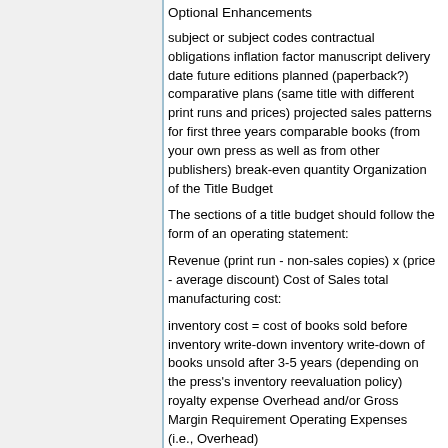Optional Enhancements
subject or subject codes contractual obligations inflation factor manuscript delivery date future editions planned (paperback?) comparative plans (same title with different print runs and prices) projected sales patterns for first three years comparable books (from your own press as well as from other publishers) break-even quantity Organization of the Title Budget
The sections of a title budget should follow the form of an operating statement:
Revenue (print run - non-sales copies) x (price - average discount) Cost of Sales total manufacturing cost:
inventory cost = cost of books sold before inventory write-down inventory write-down of books unsold after 3-5 years (depending on the press’s inventory reevaluation policy) royalty expense Overhead and/or Gross Margin Requirement Operating Expenses (i.e., Overhead)